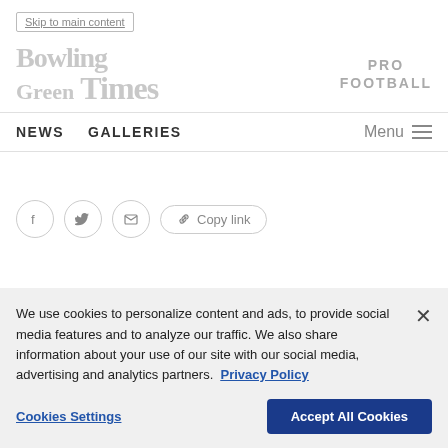Skip to main content
Bowling Green Times — PRO FOOTBALL
NEWS   GALLERIES   Menu
[Figure (screenshot): Social share buttons: Facebook icon circle, Twitter icon circle, Email icon circle, Copy link pill button]
We use cookies to personalize content and ads, to provide social media features and to analyze our traffic. We also share information about your use of our site with our social media, advertising and analytics partners. Privacy Policy
Cookies Settings   Accept All Cookies